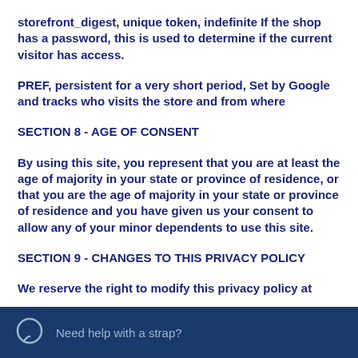storefront_digest, unique token, indefinite If the shop has a password, this is used to determine if the current visitor has access.
PREF, persistent for a very short period, Set by Google and tracks who visits the store and from where
SECTION 8 - AGE OF CONSENT
By using this site, you represent that you are at least the age of majority in your state or province of residence, or that you are the age of majority in your state or province of residence and you have given us your consent to allow any of your minor dependents to use this site.
SECTION 9 - CHANGES TO THIS PRIVACY POLICY
We reserve the right to modify this privacy policy at
Need help with a strap?